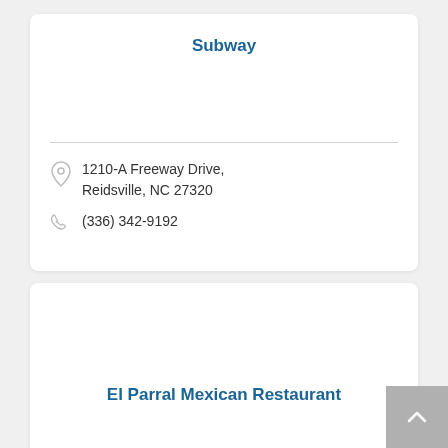Subway
1210-A Freeway Drive, Reidsville, NC 27320
(336) 342-9192
El Parral Mexican Restaurant